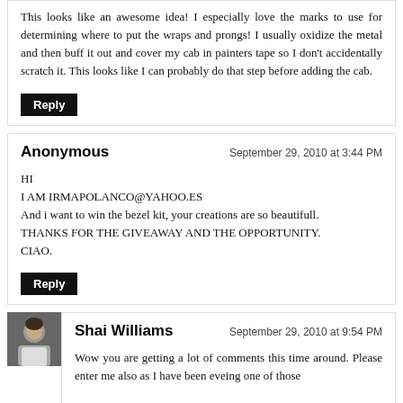This looks like an awesome idea! I especially love the marks to use for determining where to put the wraps and prongs! I usually oxidize the metal and then buff it out and cover my cab in painters tape so I don't accidentally scratch it. This looks like I can probably do that step before adding the cab.
Reply
Anonymous
September 29, 2010 at 3:44 PM
HI
I AM IRMAPOLANCO@YAHOO.ES
And i want to win the bezel kit, your creations are so beautifull.
THANKS FOR THE GIVEAWAY AND THE OPPORTUNITY.
CIAO.
Reply
[Figure (photo): Small avatar photo of Shai Williams, a person in a white top]
Shai Williams
September 29, 2010 at 9:54 PM
Wow you are getting a lot of comments this time around. Please enter me also as I have been eveing one of those